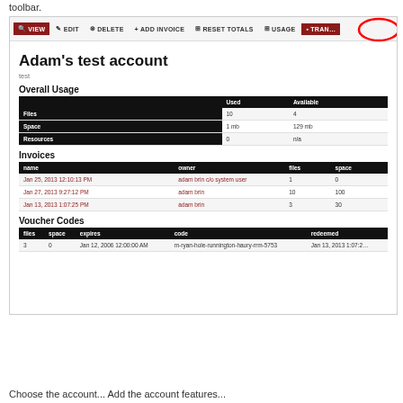toolbar.
[Figure (screenshot): Screenshot of Adam's test account page showing toolbar with VIEW, EDIT, DELETE, ADD INVOICE, RESET TOTALS, USAGE, TRANSACTIONS buttons (TRANSACTIONS circled in red), account title 'Adam's test account', Overall Usage table with Files/Space/Resources rows, Invoices table with three invoice entries, and Voucher Codes table with one entry.]
Choose the account...  Additional account features...